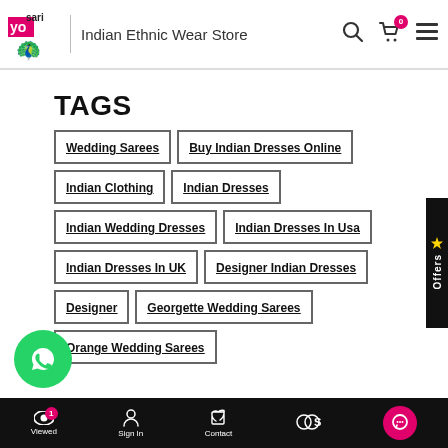YoSari | Indian Ethnic Wear Store
TAGS
Wedding Sarees
Buy Indian Dresses Online
Indian Clothing
Indian Dresses
Indian Wedding Dresses
Indian Dresses In Usa
Indian Dresses In UK
Designer Indian Dresses
Designer
Georgette Wedding Sarees
Orange Wedding Sarees
Viewed | Sign In | Contact | Offers